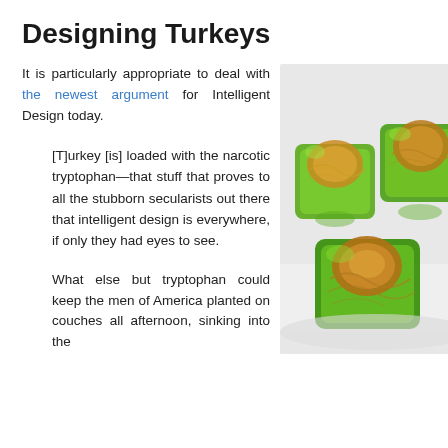Designing Turkeys
It is particularly appropriate to deal with the newest argument for Intelligent Design today.
[Figure (photo): Photo of green jelly candy pieces with amber/gold centers on a white plate, resembling cylindrical jelly cubes with internal noodle-like strands.]
[T]urkey [is] loaded with the narcotic tryptophan—that stuff that proves to all the stubborn secularists out there that intelligent design is everywhere, if only they had eyes to see.
What else but tryptophan could keep the men of America planted on couches all afternoon, sinking into the